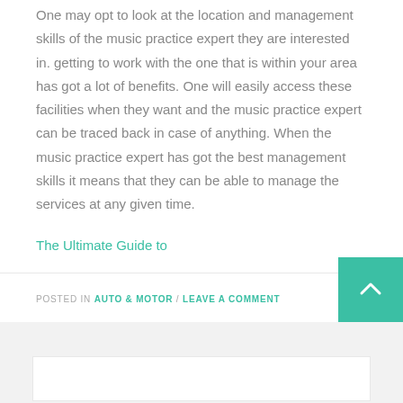One may opt to look at the location and management skills of the music practice expert they are interested in. getting to work with the one that is within your area has got a lot of benefits. One will easily access these facilities when they want and the music practice expert can be traced back in case of anything. When the music practice expert has got the best management skills it means that they can be able to manage the services at any given time.
The Ultimate Guide to
What Has Changed Recently With ?
POSTED IN AUTO & MOTOR / LEAVE A COMMENT